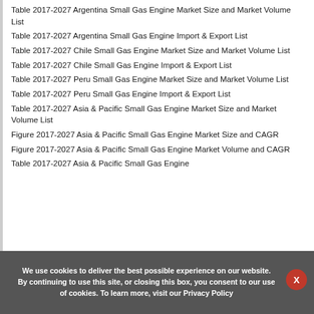Table 2017-2027 Argentina Small Gas Engine Market Size and Market Volume List
Table 2017-2027 Argentina Small Gas Engine Import & Export List
Table 2017-2027 Chile Small Gas Engine Market Size and Market Volume List
Table 2017-2027 Chile Small Gas Engine Import & Export List
Table 2017-2027 Peru Small Gas Engine Market Size and Market Volume List
Table 2017-2027 Peru Small Gas Engine Import & Export List
Table 2017-2027 Asia & Pacific Small Gas Engine Market Size and Market Volume List
Figure 2017-2027 Asia & Pacific Small Gas Engine Market Size and CAGR
Figure 2017-2027 Asia & Pacific Small Gas Engine Market Volume and CAGR
Table 2017-2027 Asia & Pacific Small Gas Engine
We use cookies to deliver the best possible experience on our website. By continuing to use this site, or closing this box, you consent to our use of cookies. To learn more, visit our Privacy Policy